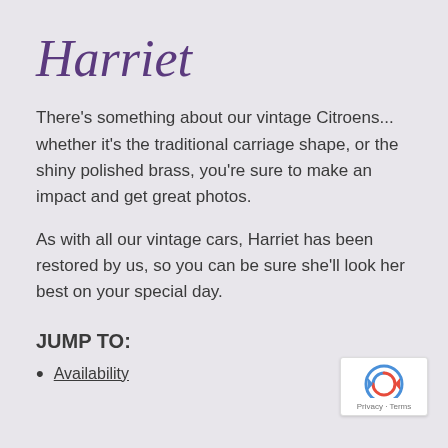Harriet
There's something about our vintage Citroens... whether it's the traditional carriage shape, or the shiny polished brass, you're sure to make an impact and get great photos.
As with all our vintage cars, Harriet has been restored by us, so you can be sure she'll look her best on your special day.
JUMP TO:
Availability
[Figure (logo): reCAPTCHA badge with Privacy and Terms text]